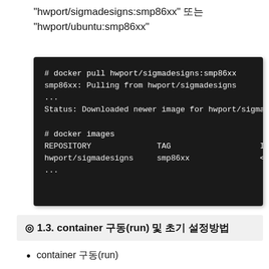"hwport/sigmadesigns:smp86xx" 또는 "hwport/ubuntu:smp86xx"
[Figure (screenshot): Terminal screenshot showing docker pull hwport/sigmadesigns:smp86xx command output, including status message and docker images listing with REPOSITORY, TAG, IMAGE columns showing hwport/sigmadesigns smp86xx <imag...]
◎ 1.3. container 구동(run) 및 초기 설정방법
container 구동(run)